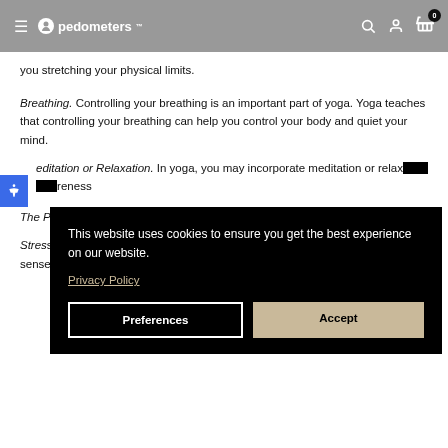pedometers
you stretching your physical limits.
Breathing. Controlling your breathing is an important part of yoga. Yoga teaches that controlling your breathing can help you control your body and quiet your mind.
Meditation or Relaxation. In yoga, you may incorporate meditation or relaxation awareness...
The P...
Stress reduction sense of well-being.
This website uses cookies to ensure you get the best experience on our website. Privacy Policy
Preferences
Accept